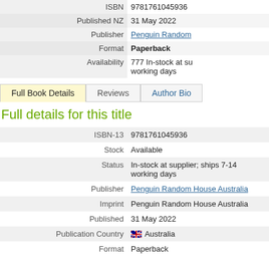| Field | Value |
| --- | --- |
| ISBN | 9781761045936 |
| Published NZ | 31 May 2022 |
| Publisher | Penguin Random |
| Format | Paperback |
| Availability | 777 In-stock at supplier; ships 7-14 working days |
Full Book Details
Reviews
Author Bio
Full details for this title
| Field | Value |
| --- | --- |
| ISBN-13 | 9781761045936 |
| Stock | Available |
| Status | In-stock at supplier; ships 7-14 working days |
| Publisher | Penguin Random House Australia |
| Imprint | Penguin Random House Australia |
| Published | 31 May 2022 |
| Publication Country | Australia |
| Format | Paperback |